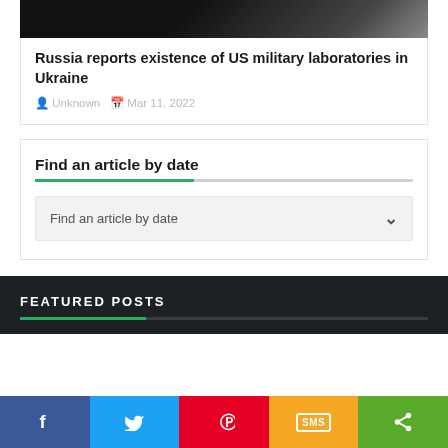[Figure (photo): Dark image at top of article card, partially visible]
Russia reports existence of US military laboratories in Ukraine
Unknown   Mar 11, 2022
Find an article by date
Find an article by date (dropdown selector)
FEATURED POSTS
[Figure (infographic): Social sharing bar with Facebook, Twitter, Pinterest, SMS, and Share buttons]